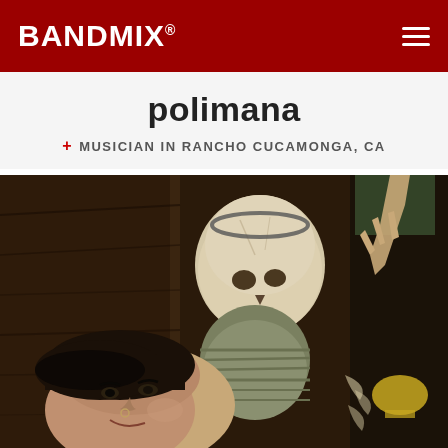BANDMIX®
polimana
+ MUSICIAN IN RANCHO CUCAMONGA, CA
[Figure (photo): A person with short dark hair and a nose ring smiling, lying next to a human skull and skeleton in a room with wood-paneled walls and various decorations.]